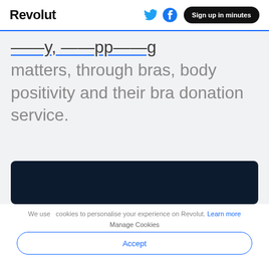Revolut | Sign up in minutes
matters, through bras, body positivity and their bra donation service.
[Figure (other): Dark banner image area]
We use cookies to personalise your experience on Revolut. Learn more
Manage Cookies
Accept